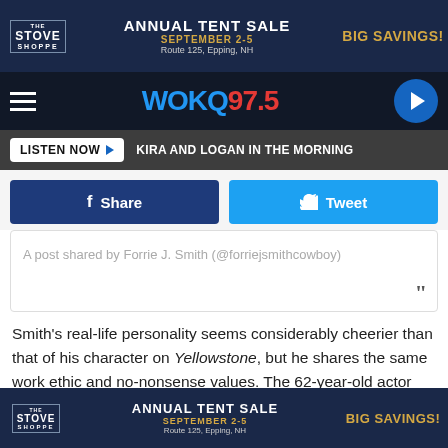[Figure (screenshot): Top banner advertisement for The Stove Shoppe Annual Tent Sale, September 2-5, Route 125, Epping, NH. BIG SAVINGS!]
[Figure (logo): WOKQ 97.5 radio station logo with hamburger menu and play button]
LISTEN NOW  KIRA AND LOGAN IN THE MORNING
[Figure (screenshot): Facebook Share and Twitter Tweet buttons]
A post shared by Forrie J. Smith (@forriejsmithcowboy)
Smith's real-life personality seems considerably cheerier than that of his character on Yellowstone, but he shares the same work ethic and no-nonsense values. The 62-year-old actor declined to attend the Screen Actors Guild Awards on Feb. 27 alongside his Yellowstone co-stars because getting
[Figure (screenshot): Bottom banner advertisement for The Stove Shoppe Annual Tent Sale, September 2-5, Route 125, Epping, NH. BIG SAVINGS!]